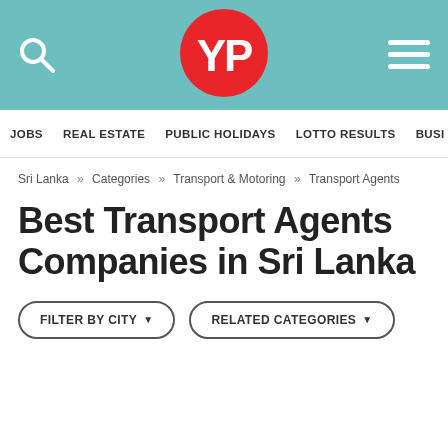YP — Sri Lanka Yellow Pages
JOBS   REAL ESTATE   PUBLIC HOLIDAYS   LOTTO RESULTS   BUSI…
Sri Lanka » Categories » Transport & Motoring » Transport Agents
Best Transport Agents Companies in Sri Lanka
FILTER BY CITY ▾   RELATED CATEGORIES ▾